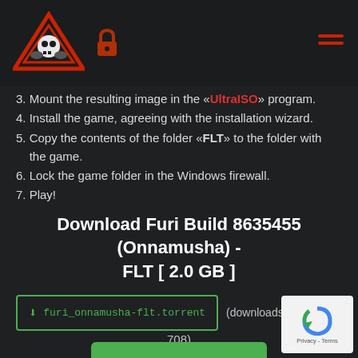Website header with logo, lock icon, and hamburger menu
3. Mount the resulting image in the «UltraISO» program.
4. Install the game, agreeing with the installation wizard.
5. Copy the contents of the folder «FLT» to the folder with the game.
6. Lock the game folder in the Windows firewall.
7. Play!
Download Furi Build 8635455 (Onnamusha) - FLT [ 2.0 GB ]
furi_onnamusha-flt.torrent (downloads: 708)
[Figure (screenshot): Green Download button]
[Figure (logo): reCAPTCHA logo with Privacy - Terms text]